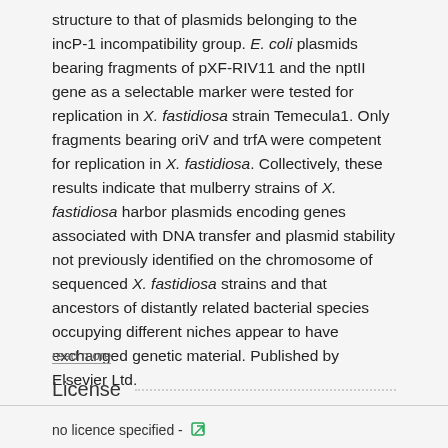structure to that of plasmids belonging to the incP-1 incompatibility group. E. coli plasmids bearing fragments of pXF-RIV11 and the nptII gene as a selectable marker were tested for replication in X. fastidiosa strain Temecula1. Only fragments bearing oriV and trfA were competent for replication in X. fastidiosa. Collectively, these results indicate that mulberry strains of X. fastidiosa harbor plasmids encoding genes associated with DNA transfer and plasmid stability not previously identified on the chromosome of sequenced X. fastidiosa strains and that ancestors of distantly related bacterial species occupying different niches appear to have exchanged genetic material. Published by Elsevier Ltd.
read more
License
no licence specified -